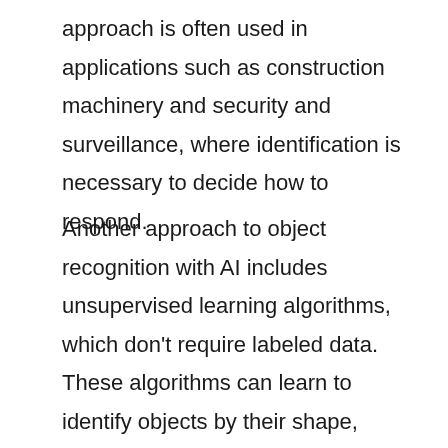approach is often used in applications such as construction machinery and security and surveillance, where identification is necessary to decide how to respond.
Another approach to object recognition with AI includes unsupervised learning algorithms, which don't require labeled data. These algorithms can learn to identify objects by their shape, texture, or other features. They are often used in medical imaging or video analysis.